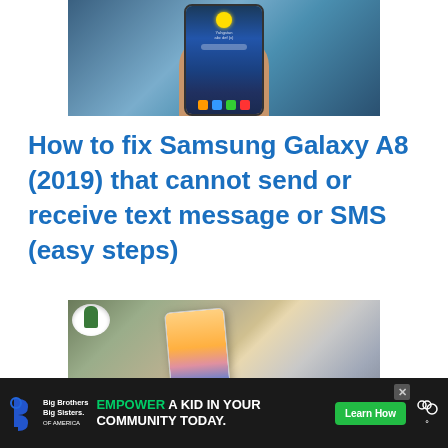[Figure (photo): Hand holding a Samsung Galaxy smartphone showing the home screen with sun/weather widget, search bar, and app icons]
How to fix Samsung Galaxy A8 (2019) that cannot send or receive text message or SMS (easy steps)
[Figure (photo): Samsung Galaxy smartphone lying on a textured surface next to a small cactus plant in a white pot and two USB drives]
[Figure (photo): Advertisement banner: Big Brothers Big Sisters logo, text 'EMPOWER A KID IN YOUR COMMUNITY TODAY.' with Learn How button and weather widget icon]